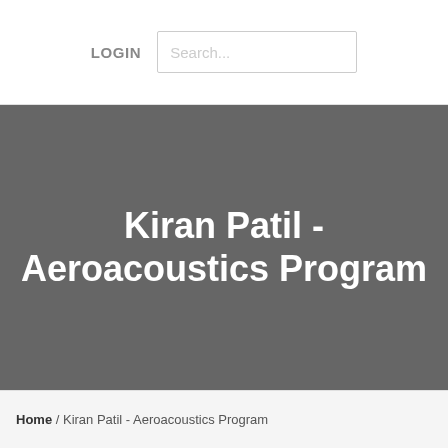LOGIN  Search...
Kiran Patil - Aeroacoustics Program
Home / Kiran Patil - Aeroacoustics Program